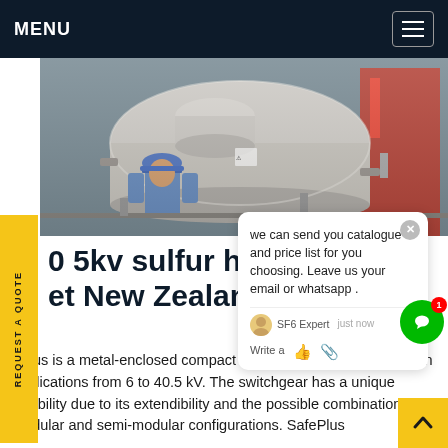MENU
[Figure (photo): Industrial photo showing a worker in a blue hard hat and jacket standing next to large white cylindrical equipment (sulfur hexafluoride switchgear) with red industrial equipment in the background.]
0 5kv sulfur hexane et New Zealand
ePlus is a metal-enclosed compact switchgear tem for distribution applications from 6 to 40.5 kV. The switchgear has a unique flexibility due to its extendibility and the possible combination of fu modular and semi-modular configurations. SafePlus
we can send you catalogue and price list for you choosing. Leave us your email or whatsapp .